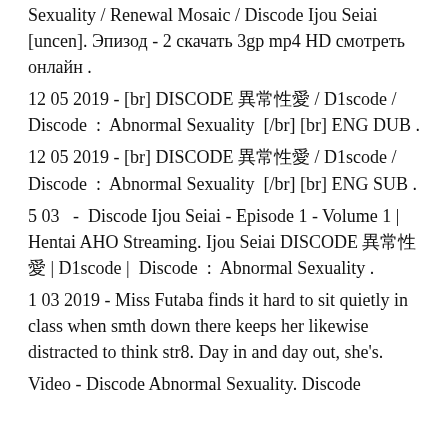Sexuality / Renewal Mosaic / Discode Ijou Seiai [uncen]. Эпизод - 2 скачать 3gp mp4 HD смотреть онлайн .
12 05 2019  -  [br] DISCODE 異常性愛 / D1scode / Discode : Abnormal Sexuality [/br] [br] ENG DUB .
12 05 2019  -  [br] DISCODE 異常性愛 / D1scode / Discode : Abnormal Sexuality [/br] [br] ENG SUB .
5 03  -  Discode Ijou Seiai - Episode 1 - Volume 1 | Hentai AHO Streaming. Ijou Seiai DISCODE 異常性愛 | D1scode | Discode : Abnormal Sexuality .
1 03 2019  -  Miss Futaba finds it hard to sit quietly in class when smth down there keeps her likewise distracted to think str8. Day in and day out, she's.
Video - Discode Abnormal Sexuality. Discode